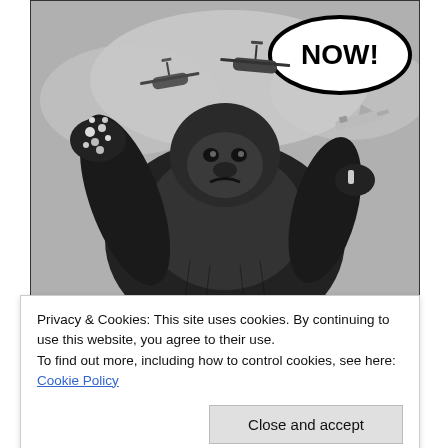[Figure (photo): Black and white image of a large gorilla (King Kong) with arms outstretched, helicopters and a plane flying around it, and a bold 'NOW!' text in an oval in the upper right corner.]
Privacy & Cookies: This site uses cookies. By continuing to use this website, you agree to their use.
To find out more, including how to control cookies, see here: Cookie Policy
Close and accept
[Figure (photo): Partial black and white image visible at bottom of page.]